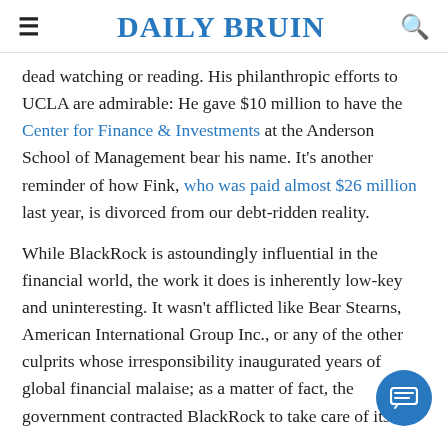DAILY BRUIN
dead watching or reading. His philanthropic efforts to UCLA are admirable: He gave $10 million to have the Center for Finance & Investments at the Anderson School of Management bear his name. It's another reminder of how Fink, who was paid almost $26 million last year, is divorced from our debt-ridden reality.
While BlackRock is astoundingly influential in the financial world, the work it does is inherently low-key and uninteresting. It wasn't afflicted like Bear Stearns, American International Group Inc., or any of the other culprits whose irresponsibility inaugurated years of global financial malaise; as a matter of fact, the government contracted BlackRock to take care of its